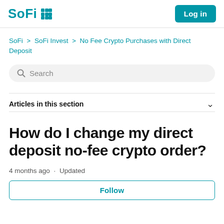SoFi | Log in
SoFi > SoFi Invest > No Fee Crypto Purchases with Direct Deposit
Search
Articles in this section
How do I change my direct deposit no-fee crypto order?
4 months ago · Updated
Follow